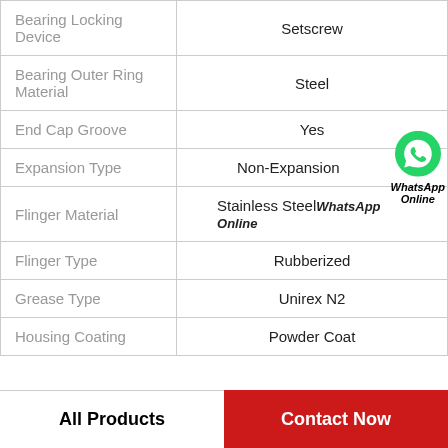| Property | Value |
| --- | --- |
| Bearing Locking Device | Setscrew |
| Bearing Outer Ring Material | Steel |
| End Cap Groove | Yes |
| Expansion Type | Non-Expansion |
| Flinger Material | Stainless Steel |
| Flinger Type | Rubberized |
| Grease Type | Unirex N2 |
| Housing Coating | Powder Coat |
All Products    Contact Now